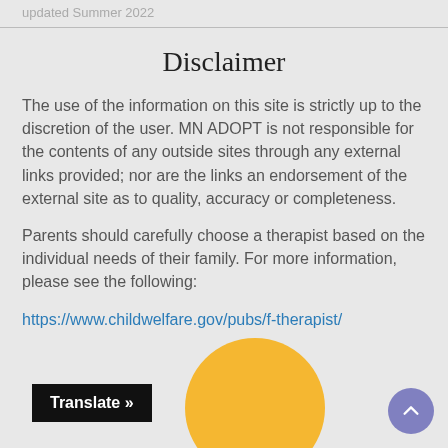updated Summer 2022
Disclaimer
The use of the information on this site is strictly up to the discretion of the user.  MN ADOPT is not responsible for the contents of any outside sites through any external links provided; nor are the links an endorsement of the external site as to quality, accuracy or completeness.
Parents should carefully choose a therapist based on the individual needs of their family. For more information, please see the following:
https://www.childwelfare.gov/pubs/f-therapist/